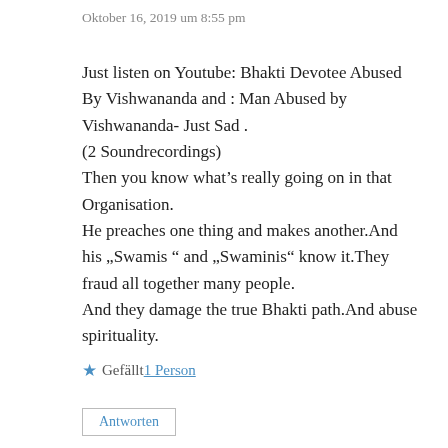Oktober 16, 2019 um 8:55 pm
Just listen on Youtube: Bhakti Devotee Abused By Vishwananda and : Man Abused by Vishwananda- Just Sad .
(2 Soundrecordings)
Then you know what’s really going on in that Organisation.
He preaches one thing and makes another.And his „Swamis “ and „Swaminis“ know it.They fraud all together many people.
And they damage the true Bhakti path.And abuse spirituality.
★ Gefällt 1 Person
Antworten